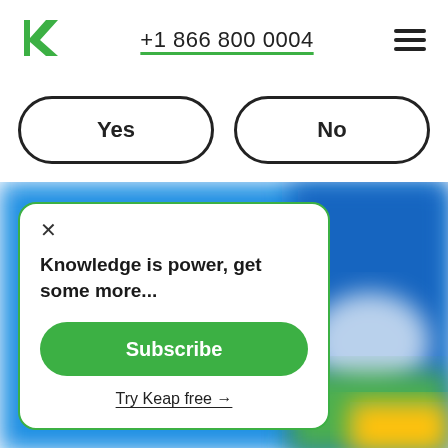[Figure (logo): Keap logo - green stylized K letter]
+1 866 800 0004
[Figure (other): Hamburger menu icon with three horizontal lines]
Yes
No
[Figure (screenshot): Blurred colorful background image (blue, green, yellow)]
×
Knowledge is power, get some more...
Subscribe
Try Keap free →